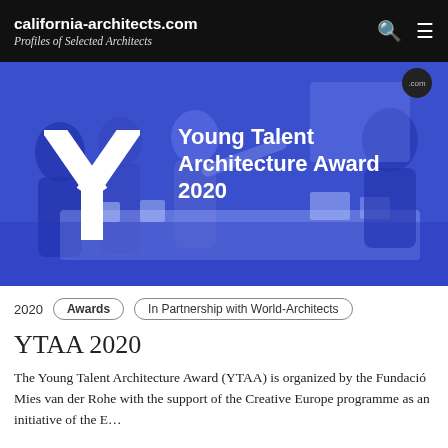california-architects.com
Profiles of Selected Architects
[Figure (photo): Blue-tinted photo of people gathered around a table with architectural models, overlaid with a large white Y logo mark and the text 'Young Talent Architecture Award 2020' in white. A '.com' badge appears in the top right corner.]
2020  Awards  In Partnership with World-Architects
YTAA 2020
The Young Talent Architecture Award (YTAA) is organized by the Fundació Mies van der Rohe with the support of the Creative Europe programme as an initiative of the E...